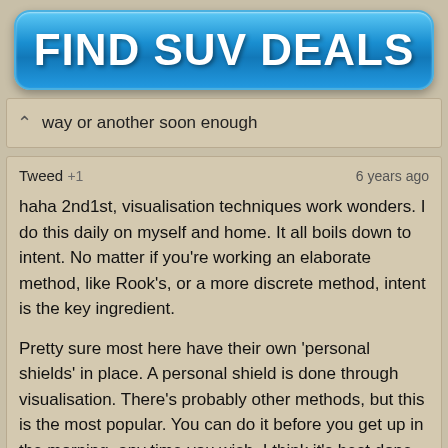[Figure (other): Blue rounded button advertisement reading FIND SUV DEALS in large bold white text]
way or another soon enough
Tweed +1   6 years ago

haha 2nd1st, visualisation techniques work wonders. I do this daily on myself and home. It all boils down to intent. No matter if you're working an elaborate method, like Rook's, or a more discrete method, intent is the key ingredient.

Pretty sure most here have their own 'personal shields' in place. A personal shield is done through visualisation. There's probably other methods, but this is the most popular. You can do it before you get up in the morning, any time you wish. I think it's best done in a quiet place. It doesn't have to take very long, a minute or 30 seconds, just so long as you maintain a strong intent.

Goodness me I just went searching for some info to link you